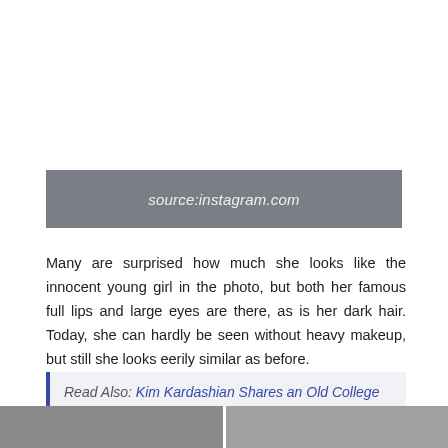source:instagram.com
Many are surprised how much she looks like the innocent young girl in the photo, but both her famous full lips and large eyes are there, as is her dark hair. Today, she can hardly be seen without heavy makeup, but still she looks eerily similar as before.
Read Also: Kim Kardashian Shares an Old College Photo on Instagram
[Figure (photo): Bottom strip showing partial photos of a person, split into two panels]